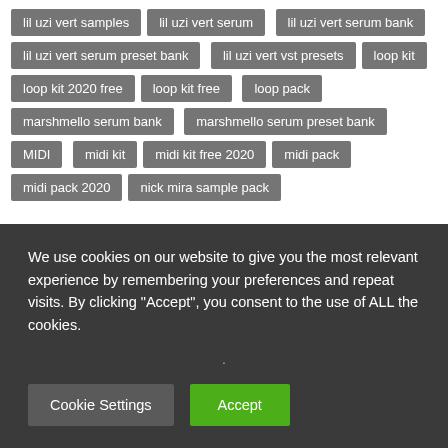lil uzi vert samples
lil uzi vert serum
lil uzi vert serum bank
lil uzi vert serum preset bank
lil uzi vert vst presets
loop kit
loop kit 2020 free
loop kit free
loop pack
marshmello serum bank
marshmello serum preset bank
MIDI
midi kit
midi kit free 2020
midi pack
midi pack 2020
nick mira sample pack
We use cookies on our website to give you the most relevant experience by remembering your preferences and repeat visits. By clicking “Accept”, you consent to the use of ALL the cookies.
·
Cookie Settings
Accept